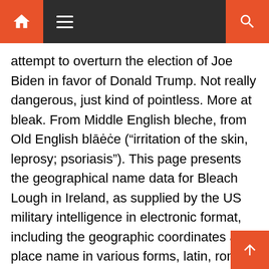Navigation bar with home, menu, and search icons
attempt to overturn the election of Joe Biden in favor of Donald Trump. Not really dangerous, just kind of pointless. More at bleak. From Middle English bleche, from Old English blǣċe ("irritation of the skin, leprosy; psoriasis"). This page presents the geographical name data for Bleach Lough in Ireland, as supplied by the US military intelligence in electronic format, including the geographic coordinates and place name in various forms, latin, roman and native characters, and its location in its respective country's administrative division. Get a friend, family member, or partner to help you make sure you don't miss a spot. Define household chores. The contributors to this blog are Plausibility matters. Drain and scrub the tank wall. blechen, v. t. & v. i., AS. Notable Persons With the Last Name Bleach, the most popular surnames and their